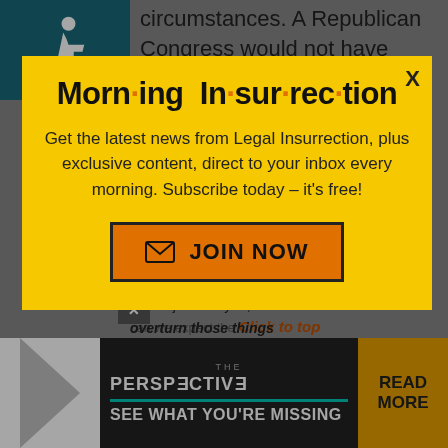[Figure (screenshot): Accessibility wheelchair icon on teal background, top left corner]
circumstances. A Republican Congress would not have gone along with Hillary's plan
[Figure (screenshot): Morning Insurrection popup modal on yellow background with JOIN NOW button]
just ask you, when can we expect the
overturn those things
[Figure (screenshot): The Perspective ad banner at bottom: SEE WHAT YOU'RE MISSING with READ MORE button]